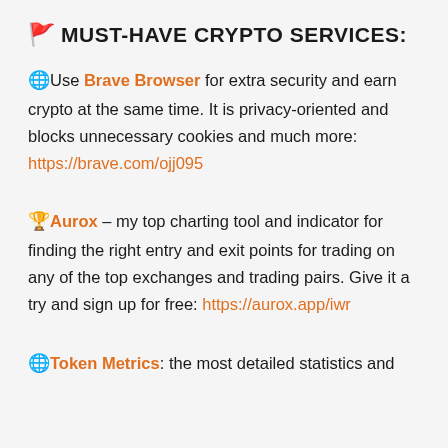🚩 MUST-HAVE CRYPTO SERVICES:
🌐Use Brave Browser for extra security and earn crypto at the same time. It is privacy-oriented and blocks unnecessary cookies and much more: https://brave.com/ojj095
🏆Aurox – my top charting tool and indicator for finding the right entry and exit points for trading on any of the top exchanges and trading pairs. Give it a try and sign up for free: https://aurox.app/iwr
🌐Token Metrics: the most detailed statistics and